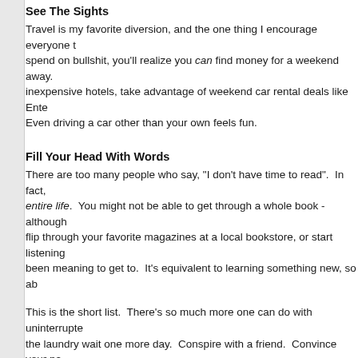See The Sights
Travel is my favorite diversion, and the one thing I encourage everyone to spend on bullshit, you'll realize you can find money for a weekend away. inexpensive hotels, take advantage of weekend car rental deals like Ente... Even driving a car other than your own feels fun.
Fill Your Head With Words
There are too many people who say, "I don't have time to read". In fact, entire life. You might not be able to get through a whole book - although, flip through your favorite magazines at a local bookstore, or start listening, been meaning to get to. It's equivalent to learning something new, so ab...
This is the short list. There's so much more one can do with uninterrupte... the laundry wait one more day. Conspire with a friend. Convince your pa...
"Breathe. Let go. And remind yourself that this very moment is the only
~ ~ ~ ~ ~ ~ ~ ~ ~ ~
2012: Dinner With Friends
2011: This Is What Sheer Joy Looks Like
2010: I'll Have The Tootsie Rolls And The Butterfinger And The Lollipop A... The Snickers Bar And The M&M's And…
2009: Meals On Wheels